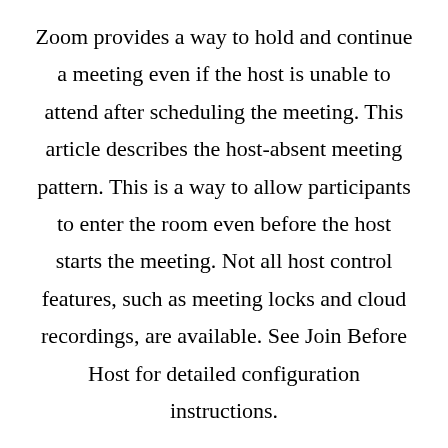Zoom provides a way to hold and continue a meeting even if the host is unable to attend after scheduling the meeting. This article describes the host-absent meeting pattern. This is a way to allow participants to enter the room even before the host starts the meeting. Not all host control features, such as meeting locks and cloud recordings, are available. See Join Before Host for detailed configuration instructions.
Note: For meetings that also use a waiting